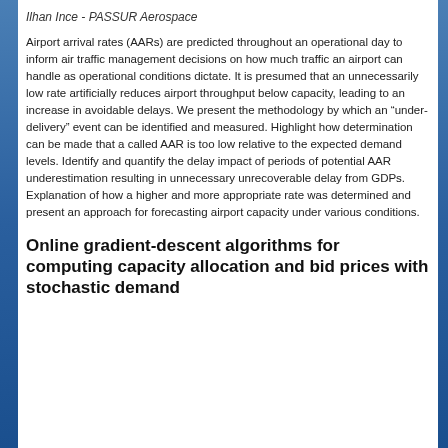Ilhan Ince - PASSUR Aerospace
Airport arrival rates (AARs) are predicted throughout an operational day to inform air traffic management decisions on how much traffic an airport can handle as operational conditions dictate. It is presumed that an unnecessarily low rate artificially reduces airport throughput below capacity, leading to an increase in avoidable delays. We present the methodology by which an “under-delivery” event can be identified and measured. Highlight how determination can be made that a called AAR is too low relative to the expected demand levels. Identify and quantify the delay impact of periods of potential AAR underestimation resulting in unnecessary unrecoverable delay from GDPs. Explanation of how a higher and more appropriate rate was determined and present an approach for forecasting airport capacity under various conditions.
Online gradient-descent algorithms for computing capacity allocation and bid prices with stochastic demand